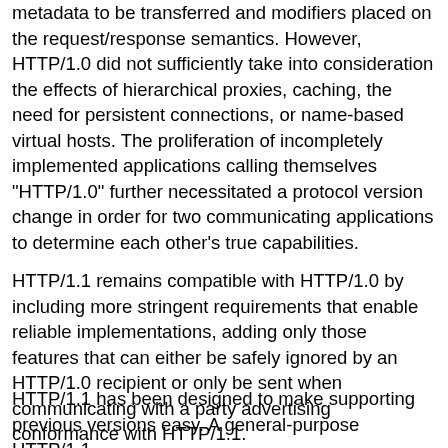metadata to be transferred and modifiers placed on the request/response semantics. However, HTTP/1.0 did not sufficiently take into consideration the effects of hierarchical proxies, caching, the need for persistent connections, or name-based virtual hosts. The proliferation of incompletely implemented applications calling themselves "HTTP/1.0" further necessitated a protocol version change in order for two communicating applications to determine each other's true capabilities.
HTTP/1.1 remains compatible with HTTP/1.0 by including more stringent requirements that enable reliable implementations, adding only those features that can either be safely ignored by an HTTP/1.0 recipient or only be sent when communicating with a party advertising conformance with HTTP/1.1.
HTTP/1.1 has been designed to make supporting previous versions easy. A general-purpose HTTP/1.1 server should be able to also service HTTP/1.0 requests.